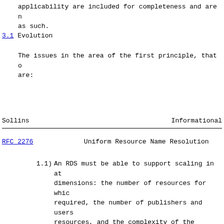applicability are included for completeness and are n as such.
3.1 Evolution
The issues in the area of the first principle, that o are:
Sollins                         Informational
RFC 2276          Uniform Resource Name Resolution
1.1) An RDS must be able to support scaling in at dimensions: the number of resources for whic required, the number of publishers and users resources, and the complexity of the delegat authority for resolution grows and possibly delegation in naming authority;
1.2) A hint resolution environment must support ev mechanisms, specifically for: * a growing set of URN schemes; * new kinds local URN resolver services; * new authentication schemes; * alternative RDS schemes active simultaneous
1.3) An RDS must allow the development and deplo